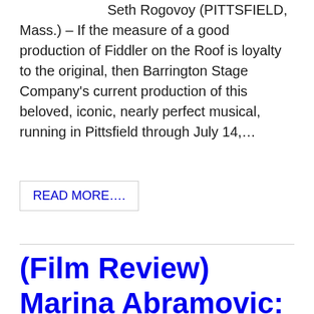Seth Rogovoy (PITTSFIELD, Mass.) – If the measure of a good production of Fiddler on the Roof is loyalty to the original, then Barrington Stage Company's current production of this beloved, iconic, nearly perfect musical, running in Pittsfield through July 14,…
READ MORE….
(Film Review) Marina Abramovic: The Artist Is Present (at The BIFF)